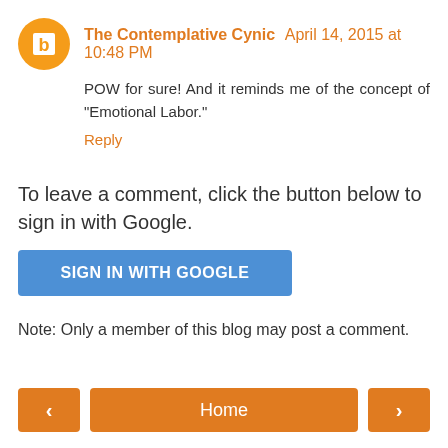The Contemplative Cynic  April 14, 2015 at 10:48 PM
POW for sure! And it reminds me of the concept of "Emotional Labor."
Reply
To leave a comment, click the button below to sign in with Google.
[Figure (other): Blue button labeled SIGN IN WITH GOOGLE]
Note: Only a member of this blog may post a comment.
[Figure (other): Navigation bar with left arrow, Home button, right arrow]
View web version
Powered by Blogger.